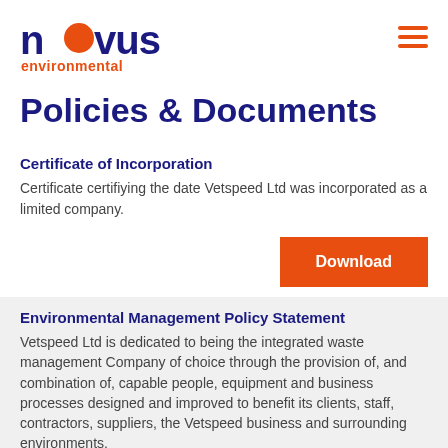novus environmental
Policies & Documents
Certificate of Incorporation
Certificate certifiying the date Vetspeed Ltd was incorporated as a limited company.
Download
Environmental Management Policy Statement
Vetspeed Ltd is dedicated to being the integrated waste management Company of choice through the provision of, and combination of, capable people, equipment and business processes designed and improved to benefit its clients, staff, contractors, suppliers, the Vetspeed business and surrounding environments.